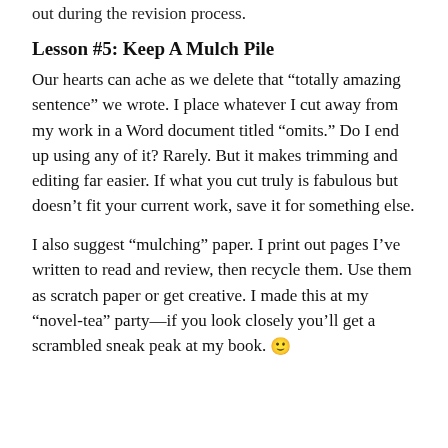out during the revision process.
Lesson #5: Keep A Mulch Pile
Our hearts can ache as we delete that “totally amazing sentence” we wrote. I place whatever I cut away from my work in a Word document titled “omits.” Do I end up using any of it? Rarely. But it makes trimming and editing far easier. If what you cut truly is fabulous but doesn’t fit your current work, save it for something else.
I also suggest “mulching” paper. I print out pages I’ve written to read and review, then recycle them. Use them as scratch paper or get creative. I made this at my “novel-tea” party—if you look closely you’ll get a scrambled sneak peak at my book. ☺